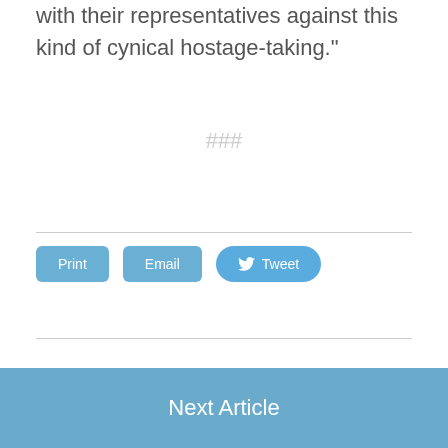with their representatives against this kind of cynical hostage-taking."
###
[Figure (other): Social sharing buttons: Print, Email, Tweet]
Next Article